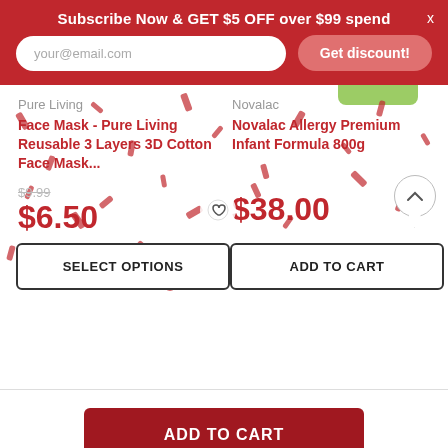Subscribe Now & GET $5 OFF over $99 spend
your@email.com
Get discount!
Pure Living
Face Mask - Pure Living Reusable 3 Layers 3D Cotton Face Mask...
Novalac
Novalac Allergy Premium Infant Formula 800g
$9.99
$6.50
$38.00
SELECT OPTIONS
ADD TO CART
ADD TO CART